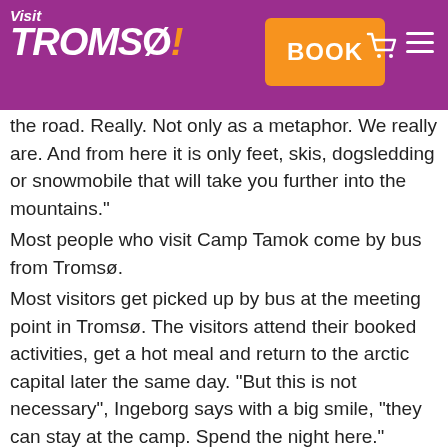Visit Tromsø! — BOOK header navigation
a small road which leads up here from... a toll road, "M...ok, a camp guide, s... the road. Really. Not only as a metaphor. We really are. And from here it is only feet, skis, dogsledding or snowmobile that will take you further into the mountains."
Most people who visit Camp Tamok come by bus from Tromsø.
Most visitors get picked up by bus at the meeting point in Tromsø. The visitors attend their booked activities, get a hot meal and return to the arctic capital later the same day. "But this is not necessary", Ingeborg says with a big smile, "they can stay at the camp. Spend the night here."
There are different possibilities to be a Camp-stayer. "We offer accommodation", says Kirsti, "we have comfortable cabins, chalets and a more primitive lavvo for those who want to get the explorer feeling." Kirsti explains and her belief is that the camp is perfect for most people. "Just a bit rougher or more authentic than most places."